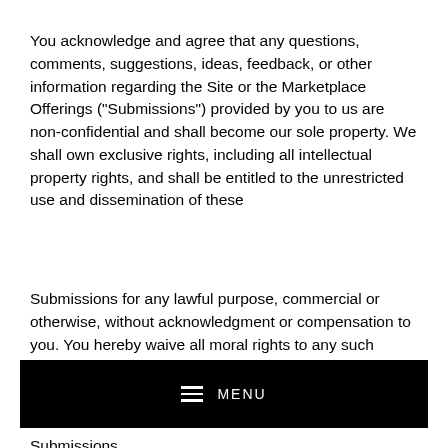You acknowledge and agree that any questions, comments, suggestions, ideas, feedback, or other information regarding the Site or the Marketplace Offerings ("Submissions") provided by you to us are non-confidential and shall become our sole property. We shall own exclusive rights, including all intellectual property rights, and shall be entitled to the unrestricted use and dissemination of these
Submissions for any lawful purpose, commercial or otherwise, without acknowledgment or compensation to you. You hereby waive all moral rights to any such Submissions, and you hereby warrant that any such Submissions are original with you or that you have the right to submit such
[Figure (other): Black navigation bar with hamburger menu icon and MENU text in white]
Submissions.